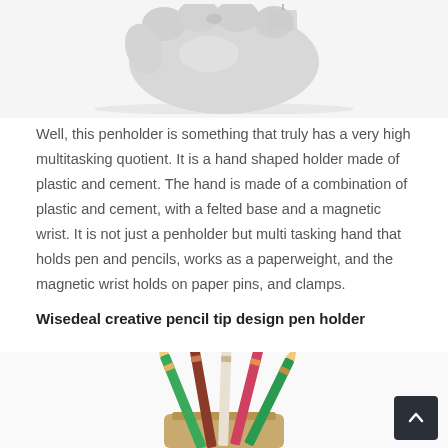[Figure (photo): Top portion of a white/grey hand-shaped penholder made of plastic and cement, shown on a white background.]
Well, this penholder is something that truly has a very high multitasking quotient. It is a hand shaped holder made of plastic and cement. The hand is made of a combination of plastic and cement, with a felted base and a magnetic wrist. It is not just a penholder but multi tasking hand that holds pen and pencils, works as a paperweight, and the magnetic wrist holds on paper pins, and clamps.
Wisedeal creative pencil tip design pen holder
[Figure (photo): Bottom portion of image showing colored pencils arranged in a wooden pen holder on a white background.]